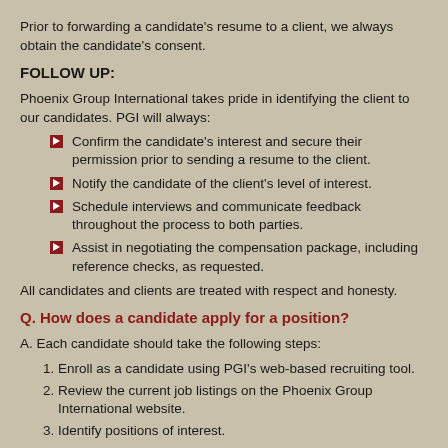Prior to forwarding a candidate's resume to a client, we always obtain the candidate's consent.
FOLLOW UP:
Phoenix Group International takes pride in identifying the client to our candidates. PGI will always:
Confirm the candidate's interest and secure their permission prior to sending a resume to the client.
Notify the candidate of the client's level of interest.
Schedule interviews and communicate feedback throughout the process to both parties.
Assist in negotiating the compensation package, including reference checks, as requested.
All candidates and clients are treated with respect and honesty.
Q. How does a candidate apply for a position?
A. Each candidate should take the following steps:
Enroll as a candidate using PGI's web-based recruiting tool.
Review the current job listings on the Phoenix Group International website.
Identify positions of interest.
Using our web-based recruiting tool, apply to position(s) of